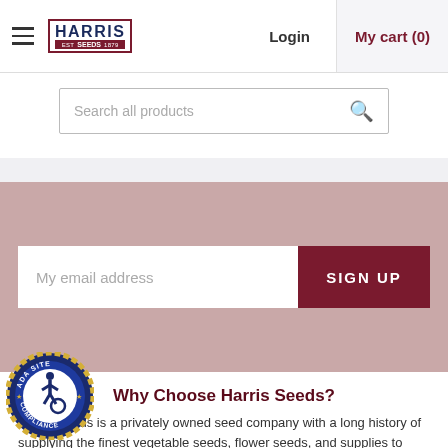Harris Seeds - Login - My cart (0)
Search all products
My email address
SIGN UP
Why Choose Harris Seeds?
Harris Seeds is a privately owned seed company with a long history of supplying the finest vegetable seeds, flower seeds, and supplies to growers and gardeners since 1879. The Harris Seeds team includes local growers and garden enthusiasts, whose invaluable knowledge and expertise allow us to better serve you. Every Harris Seeds employee shares a
[Figure (logo): ADA Site Compliance badge - circular badge with blue background, gold rope border, wheelchair accessibility icon, text reading ADA SITE COMPLIANCE]